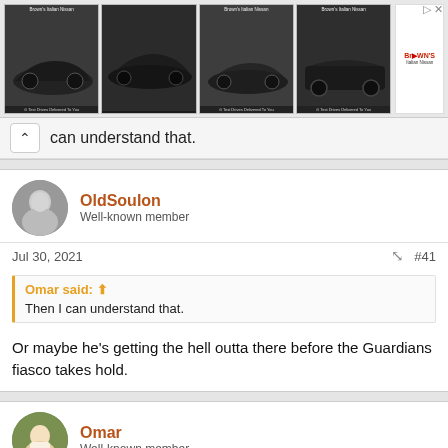[Figure (photo): Advertisement banner showing four car images from Brown's Italian Nissan dealership with a dealership logo on the right side and close button]
can understand that.
OldSoulon
Well-known member
Jul 30, 2021  #41
Omar said:
Then I can understand that.
Or maybe he's getting the hell outta there before the Guardians fiasco takes hold.
Omar
Well-known member